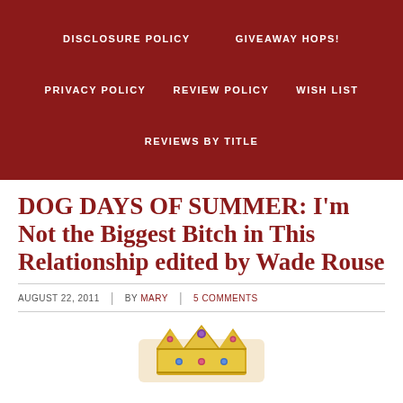DISCLOSURE POLICY   GIVEAWAY HOPS!   PRIVACY POLICY   REVIEW POLICY   WISH LIST   REVIEWS BY TITLE
DOG DAYS OF SUMMER: I'm Not the Biggest Bitch in This Relationship edited by Wade Rouse
AUGUST 22, 2011 | BY MARY | 5 COMMENTS
[Figure (photo): Partial image of a book cover showing a crown/tiara with gemstones in gold, pink and blue colors against a light background]